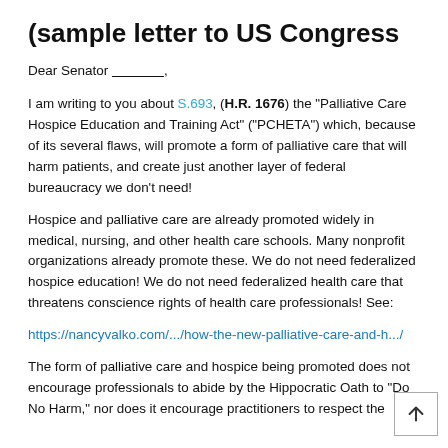(sample letter to US Congress
Dear Senator ______,
I am writing to you about S.693, (H.R. 1676) the “Palliative Care Hospice Education and Training Act” (“PCHETA”) which, because of its several flaws, will promote a form of palliative care that will harm patients, and create just another layer of federal bureaucracy we don’t need!
Hospice and palliative care are already promoted widely in medical, nursing, and other health care schools. Many nonprofit organizations already promote these. We do not need federalized hospice education! We do not need federalized health care that threatens conscience rights of health care professionals! See:
https://nancyvalko.com/.../how-the-new-palliative-care-and-h.../
The form of palliative care and hospice being promoted does not encourage professionals to abide by the Hippocratic Oath to “Do No Harm,” nor does it encourage practitioners to respect the